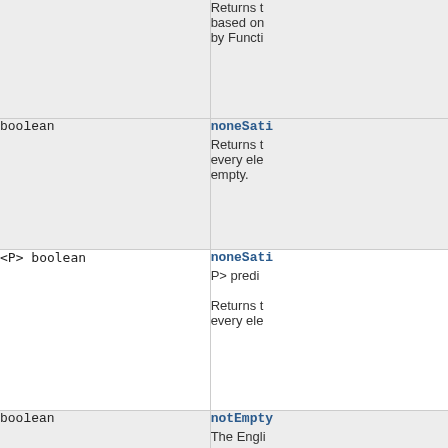| Return Type | Method / Description |
| --- | --- |
| (partial row) | Returns t... based on... by Functi... |
| boolean | noneSati...
Returns t... every ele... empty. |
| <P> boolean | noneSati...
P> predi...
Returns t... every ele... |
| boolean | notEmpty
The Engli... |
| <R extends Collection<T>>
R | reject(P...
R target...
Same as t... uses the s... |
| <P,R extends Collection<T>>
R | rejectWi...
P> predi... |